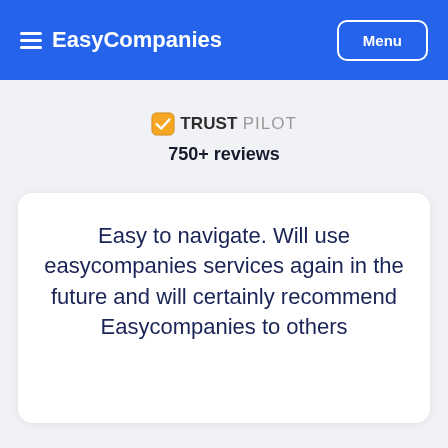EasyCompanies  Menu
[Figure (logo): Trustpilot logo with checkmark icon]
750+ reviews
Easy to navigate. Will use easycompanies services again in the future and will certainly recommend Easycompanies to others